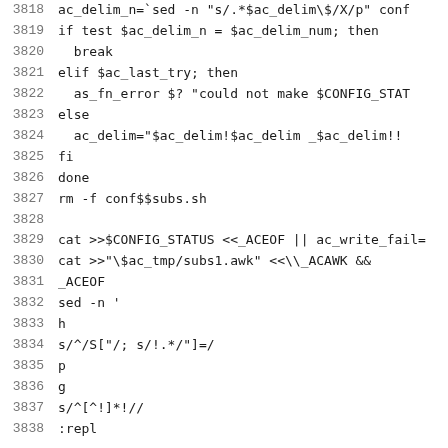Code listing lines 3818-3838 showing shell script configuration code
3818: ac_delim_n=`sed -n "s/.*$ac_delim\$/X/p" conf
3819: if test $ac_delim_n = $ac_delim_num; then
3820:   break
3821: elif $ac_last_try; then
3822:   as_fn_error $? "could not make $CONFIG_STAT
3823: else
3824:   ac_delim="$ac_delim!$ac_delim _$ac_delim!!
3825: fi
3826: done
3827: rm -f conf$$subs.sh
3828: (blank)
3829: cat >>$CONFIG_STATUS <<_ACEOF || ac_write_fail=
3830: cat >>"\$ac_tmp/subs1.awk" <<\\_ACAWK &&
3831: _ACEOF
3832: sed -n '
3833: h
3834: s/^/S["/; s/!.*/"]=/
3835: p
3836: g
3837: s/^[^!]*!//
3838: :repl